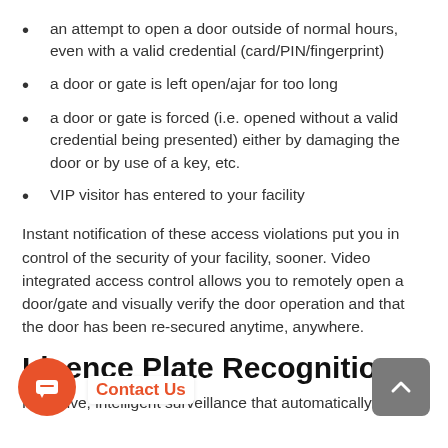an attempt to open a door outside of normal hours, even with a valid credential (card/PIN/fingerprint)
a door or gate is left open/ajar for too long
a door or gate is forced (i.e. opened without a valid credential being presented) either by damaging the door or by use of a key, etc.
VIP visitor has entered to your facility
Instant notification of these access violations put you in control of the security of your facility, sooner. Video integrated access control allows you to remotely open a door/gate and visually verify the door operation and that the door has been re-secured anytime, anywhere.
Licence Plate Recognition
Proactive, intelligent surveillance that automatically